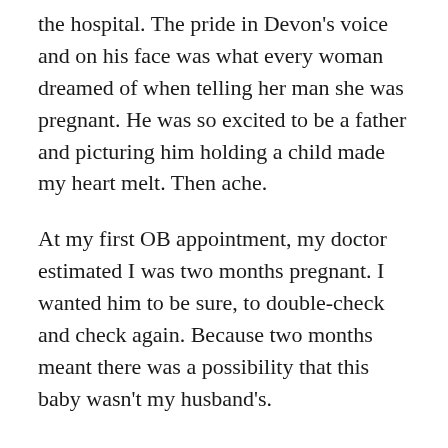the hospital. The pride in Devon's voice and on his face was what every woman dreamed of when telling her man she was pregnant. He was so excited to be a father and picturing him holding a child made my heart melt. Then ache.
At my first OB appointment, my doctor estimated I was two months pregnant. I wanted him to be sure, to double-check and check again. Because two months meant there was a possibility that this baby wasn't my husband's.
“What do you want? I’m sure Devon wants a boy!”
“Doesn’t matter,” I shrugged.